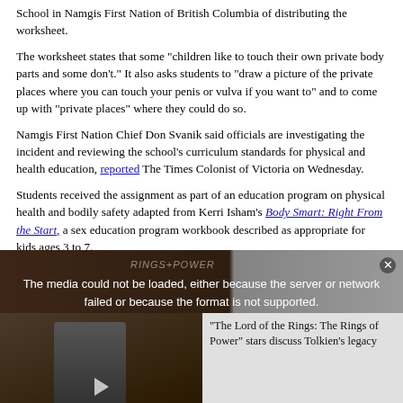School in Namgis First Nation of British Columbia of distributing the worksheet.
The worksheet states that some "children like to touch their own private body parts and some don't." It also asks students to "draw a picture of the private places where you can touch your penis or vulva if you want to" and to come up with "private places" where they could do so.
Namgis First Nation Chief Don Svanik said officials are investigating the incident and reviewing the school's curriculum standards for physical and health education, reported The Times Colonist of Victoria on Wednesday.
Students received the assignment as part of an education program on physical health and bodily safety adapted from Kerri Isham's Body Smart: Right From the Start, a sex education program workbook described as appropriate for kids ages 3 to 7.
[Figure (screenshot): Video player overlay showing a media error message 'The media could not be loaded, either because the server or network failed or because the format is not supported.' with a thumbnail of a person and side panel text about 'The Lord of the Rings: The Rings of Power' stars discussing Tolkien's legacy.]